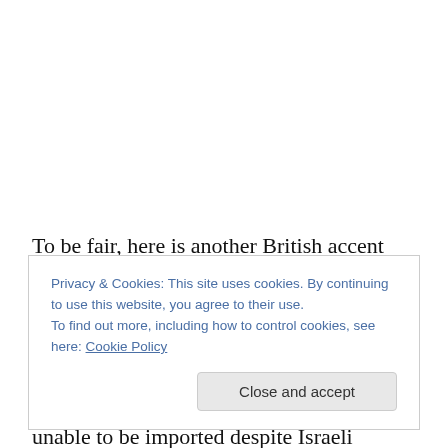To be fair, here is another British accent this time reporting on the high costs for automobiles in Gaza along with some comments on the hardships the Gazans suffer and actually has a moment of honest criticism on why the vehicles still are unable to be imported despite Israeli blessings for the Gazan to do so but that would require the
Privacy & Cookies: This site uses cookies. By continuing to use this website, you agree to their use.
To find out more, including how to control cookies, see here: Cookie Policy
Close and accept